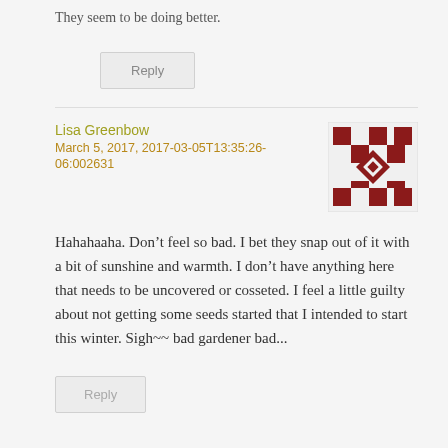They seem to be doing better.
Reply
Lisa Greenbow
March 5, 2017, 2017-03-05T13:35:26-06:002631
[Figure (illustration): Pixel art style avatar with dark red geometric quilt pattern on white background]
Hahahaaha. Don’t feel so bad. I bet they snap out of it with a bit of sunshine and warmth. I don’t have anything here that needs to be uncovered or cosseted. I feel a little guilty about not getting some seeds started that I intended to start this winter. Sigh~~ bad gardener bad...
Reply